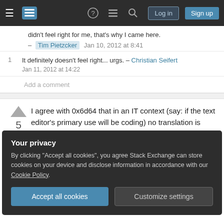Stack Exchange navigation bar with Log in and Sign up buttons
didn't feel right for me, that's why I came here. – Tim Pietzcker Jan 10, 2012 at 8:41
1   It definitely doesn't feel right... urgs. – Christian Seifert Jan 11, 2012 at 14:22
Add a comment
I agree with 0x6d64 that in an IT context (say: if the text editor's primary use will be coding) no translation is needed. Also a bad translation can make things harder to understand than an English
Your privacy
By clicking "Accept all cookies", you agree Stack Exchange can store cookies on your device and disclose information in accordance with our Cookie Policy.
Accept all cookies   Customize settings